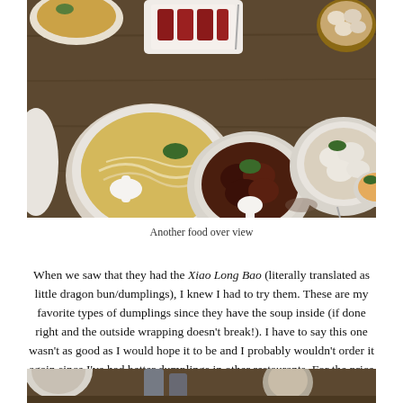[Figure (photo): Overhead view of a Chinese restaurant table with multiple dishes including noodle soup, braised meat in a bowl, dumplings in broth, fried rice, barbecued meats, and steamed dumplings in a bamboo steamer, all arranged on a wooden table.]
Another food over view
When we saw that they had the Xiao Long Bao (literally translated as little dragon bun/dumplings), I knew I had to try them. These are my favorite types of dumplings since they have the soup inside (if done right and the outside wrapping doesn't break!). I have to say this one wasn't as good as I would hope it to be and I probably wouldn't order it again since I've had better dumplings in other restaurants. For the price though, this isn't bad, and is good to share amongst 2 people for a quick snack.
[Figure (photo): Partial view of a bowl and cup on a wooden table, bottom portion of the page.]